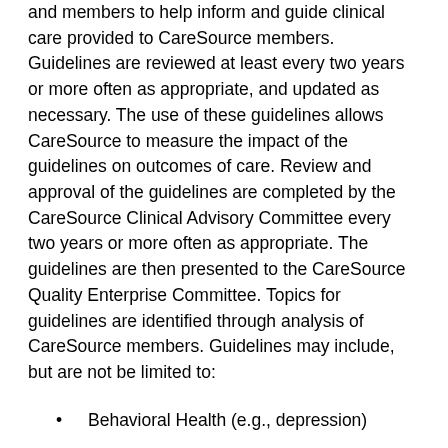and members to help inform and guide clinical care provided to CareSource members. Guidelines are reviewed at least every two years or more often as appropriate, and updated as necessary. The use of these guidelines allows CareSource to measure the impact of the guidelines on outcomes of care. Review and approval of the guidelines are completed by the CareSource Clinical Advisory Committee every two years or more often as appropriate. The guidelines are then presented to the CareSource Quality Enterprise Committee. Topics for guidelines are identified through analysis of CareSource members. Guidelines may include, but are not be limited to:
Behavioral Health (e.g., depression)
Adult Health (e.g., hypertension, diabetes)
Population Health (e.g., obesity, tobacco cessation)
Information about clinical practice guidelines and health information are made available to CareSource members via